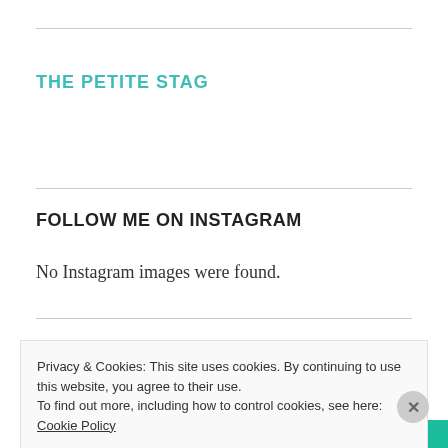THE PETITE STAG
FOLLOW ME ON INSTAGRAM
No Instagram images were found.
FOLLOW ME ON TWITTER
Privacy & Cookies: This site uses cookies. By continuing to use this website, you agree to their use.
To find out more, including how to control cookies, see here: Cookie Policy
Close and accept